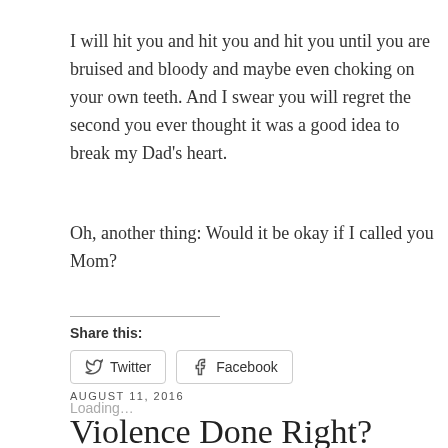I will hit you and hit you and hit you until you are bruised and bloody and maybe even choking on your own teeth. And I swear you will regret the second you ever thought it was a good idea to break my Dad's heart.
Oh, another thing: Would it be okay if I called you Mom?
Share this:
Twitter
Facebook
Loading...
AUGUST 11, 2016
Violence Done Right?